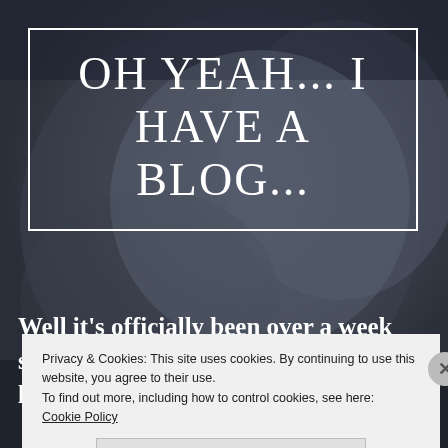[Figure (photo): Dark muted background photo of a person (appears to be a woman with long hair), dimly lit, serving as the full-page background behind the blog title overlay.]
OH YEAH... I HAVE A BLOG...
Well it’s officially been over a week since I posted anything. I haven’t gone longer than a
Privacy & Cookies: This site uses cookies. By continuing to use this website, you agree to their use.
To find out more, including how to control cookies, see here:
Cookie Policy
Close and accept
elicant free.co